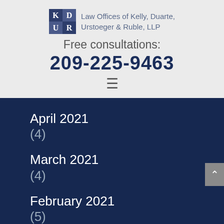[Figure (logo): KD UR logo box in dark navy blue with white letters in a 2x2 grid]
Law Offices of Kelly, Duarte, Urstoeger & Ruble, LLP
Free consultations:
209-225-9463
≡
April 2021
(4)
March 2021
(4)
February 2021
(5)
January 2021
(5)